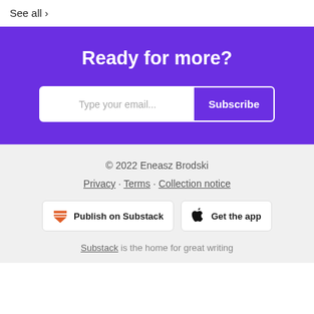See all >
Ready for more?
Type your email... Subscribe
© 2022 Eneasz Brodski
Privacy · Terms · Collection notice
Publish on Substack
Get the app
Substack is the home for great writing